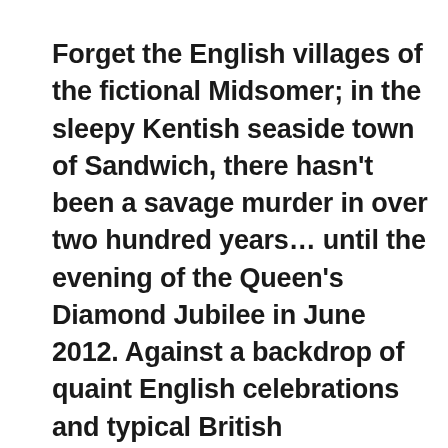Forget the English villages of the fictional Midsomer; in the sleepy Kentish seaside town of Sandwich, there hasn't been a savage murder in over two hundred years… until the evening of the Queen's Diamond Jubilee in June 2012. Against a backdrop of quaint English celebrations and typical British summertime weather, Kevan Jones delivers up a gruesome murder of shocking proportions. What follows is a forensic examination by Detective Chief Inspector Matt Sanderson into the backgrounds of a group of ageing misfits who share a secret